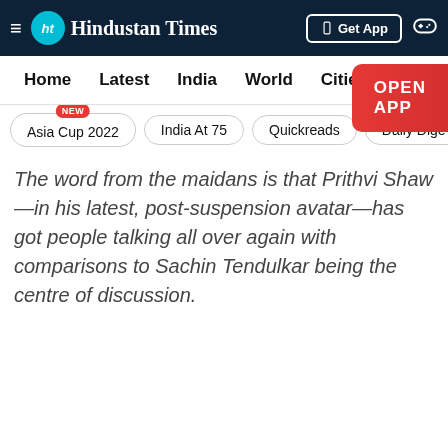Hindustan Times
Home | Latest | India | World | Cities | Entertainment
Asia Cup 2022 NEW | India At 75 | Quickreads | Daily Dige
The word from the maidans is that Prithvi Shaw—in his latest, post-suspension avatar—has got people talking all over again with comparisons to Sachin Tendulkar being the centre of discussion.